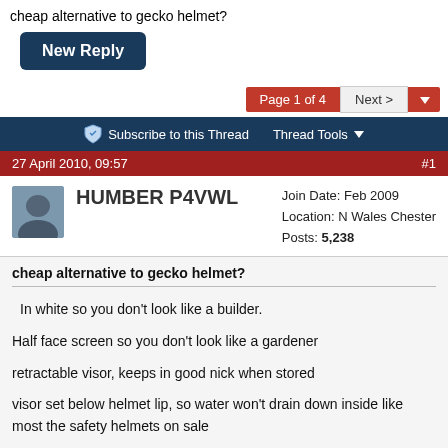cheap alternative to gecko helmet?
New Reply
Page 1 of 4   Next >
Subscribe to this Thread   Thread Tools
27 April 2010, 09:57   #1
HUMBER P4VWL
Join Date: Feb 2009
Location: N Wales Chester
Posts: 5,238
cheap alternative to gecko helmet?
In white so you don't look like a builder.

Half face screen so you don't look like a gardener

retractable visor, keeps in good nick when stored

visor set below helmet lip, so water won't drain down inside like most the safety helmets on sale